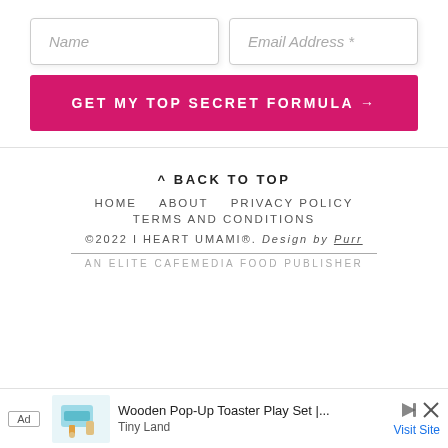Name
Email Address *
GET MY TOP SECRET FORMULA →
^ BACK TO TOP
HOME   ABOUT   PRIVACY POLICY
TERMS AND CONDITIONS
©2022 I HEART UMAMI®. Design by Purr
AN ELITE CAFEMEDIA FOOD PUBLISHER
Ad   Wooden Pop-Up Toaster Play Set |...  Tiny Land   Visit Site